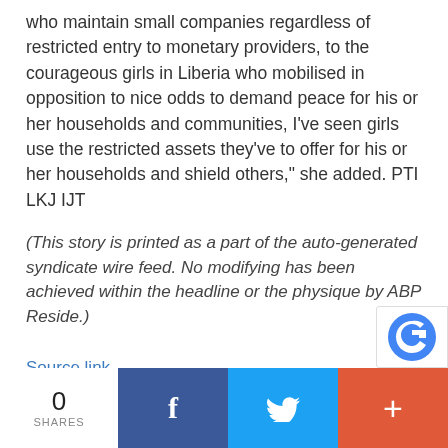who maintain small companies regardless of restricted entry to monetary providers, to the courageous girls in Liberia who mobilised in opposition to nice odds to demand peace for his or her households and communities, I've seen girls use the restricted assets they've to offer for his or her households and shield others," she added. PTI LKJ IJT
(This story is printed as a part of the auto-generated syndicate wire feed. No modifying has been achieved within the headline or the physique by ABP Reside.)
Source link